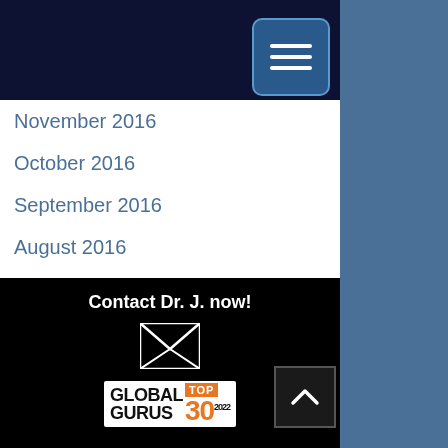[Figure (screenshot): Dark navy top navigation bar with hamburger menu button (three white horizontal lines) in a blue rounded rectangle]
November 2016
October 2016
September 2016
August 2016
Contact Dr. J. now!
[Figure (logo): Global Gurus Top 30 2022 badge/logo]
[Figure (illustration): White envelope/email icon]